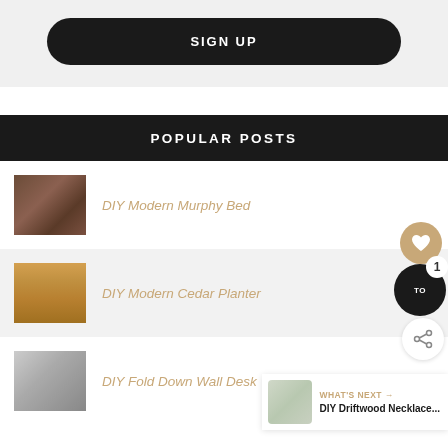SIGN UP
POPULAR POSTS
DIY Modern Murphy Bed
DIY Modern Cedar Planter
DIY Fold Down Wall Desk
WHAT'S NEXT → DIY Driftwood Necklace...